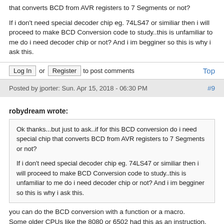that converts BCD from AVR registers to 7 Segments or not?
If i don't need special decoder chip eg. 74LS47 or similiar then i will proceed to make BCD Conversion code to study..this is unfamiliar to me do i need decoder chip or not? And i im begginer so this is why i ask this.
Log In or Register to post comments
Top
Posted by jporter: Sun. Apr 15, 2018 - 06:30 PM
#9
robydream wrote:
Ok thanks...but just to ask..if for this BCD conversion do i need special chip that converts BCD from AVR registers to 7 Segments or not?

If i don't need special decoder chip eg. 74LS47 or similiar then i will proceed to make BCD Conversion code to study..this is unfamiliar to me do i need decoder chip or not? And i im begginer so this is why i ask this.
you can do the BCD conversion with a function or a macro.
Some older CPUs like the 8080 or 6502 had this as an instruction.  Since the